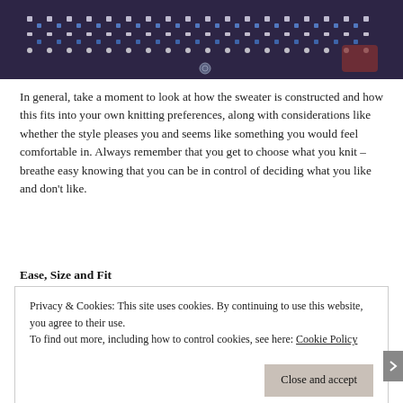[Figure (photo): Close-up of a dark navy/purple fair isle knitted sweater with a geometric pattern in white and blue, with visible buttons, worn by a person.]
In general, take a moment to look at how the sweater is constructed and how this fits into your own knitting preferences, along with considerations like whether the style pleases you and seems like something you would feel comfortable in. Always remember that you get to choose what you knit – breathe easy knowing that you can be in control of deciding what you like and don't like.
Ease, Size and Fit
Privacy & Cookies: This site uses cookies. By continuing to use this website, you agree to their use.
To find out more, including how to control cookies, see here: Cookie Policy
Close and accept